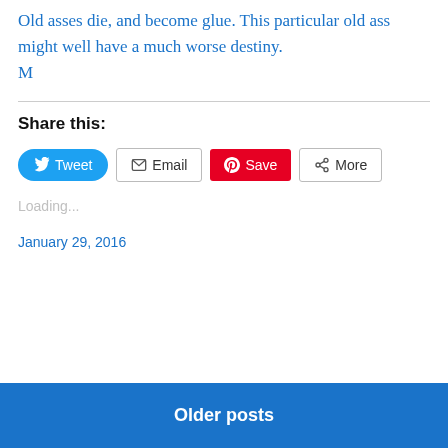Old asses die, and become glue. This particular old ass might well have a much worse destiny.
M
Share this:
[Figure (other): Social sharing buttons: Tweet (Twitter/blue), Email (grey outline), Save (Pinterest/red), More (grey outline)]
Loading...
January 29, 2016
Older posts